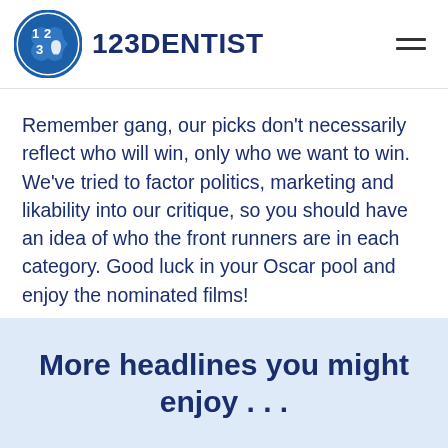123DENTIST
Remember gang, our picks don’t necessarily reflect who will win, only who we want to win. We’ve tried to factor politics, marketing and likability into our critique, so you should have an idea of who the front runners are in each category. Good luck in your Oscar pool and enjoy the nominated films!
More headlines you might enjoy . . .